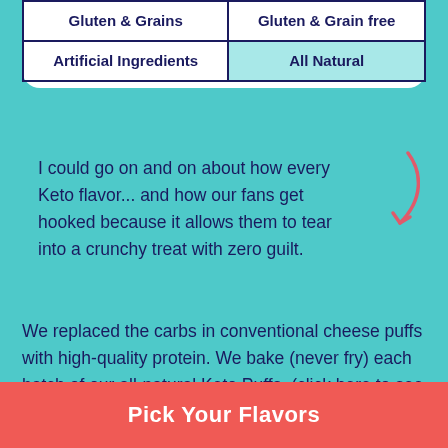| Gluten & Grains | Gluten & Grain free |
| Artificial Ingredients | All Natural |
I could go on and on about how every Keto flavor... and how our fans get hooked because it allows them to tear into a crunchy treat with zero guilt.
We replaced the carbs in conventional cheese puffs with high-quality protein. We bake (never fry) each batch of our all-natural Keto Puffs. (click here to see the
Pick Your Flavors